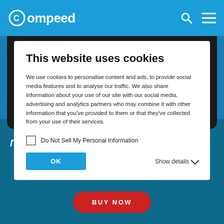Compeed
This website uses cookies
We use cookies to personalise content and ads, to provide social media features and to analyse our traffic. We also share information about your use of our site with our social media, advertising and analytics partners who may combine it with other information that you've provided to them or that they've collected from your use of their services.
Do Not Sell My Personal Information
OK
Show details
risk of infection.
BUY NOW